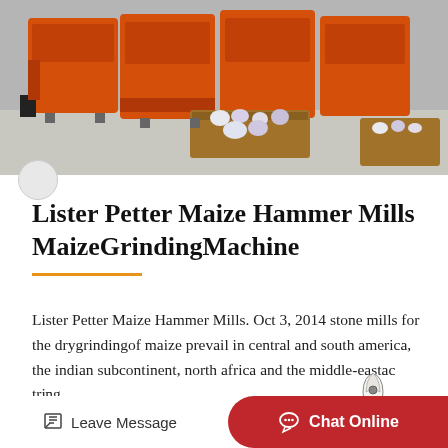[Figure (photo): Orange industrial hammer mills / grinding machines in a warehouse with flowers in wooden crates in the background]
Lister Petter Maize Hammer Mills MaizeGrindingMachine
Lister Petter Maize Hammer Mills. Oct 3, 2014 stone mills for the drygrindingof maize prevail in central and south america, the indian subcontinent, north africa and the middle-eastac tring…
[Figure (illustration): Rocket ship emoji/icon overlay on the text]
Leave Message   Chat Online